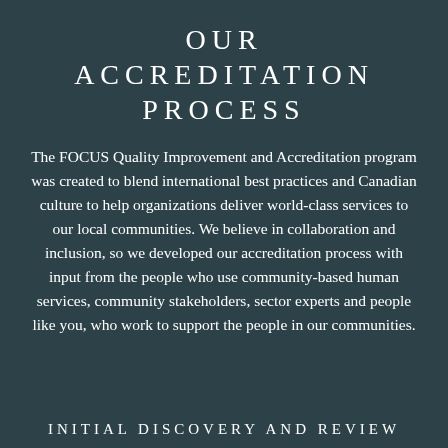OUR ACCREDITATION PROCESS
The FOCUS Quality Improvement and Accreditation program was created to blend international best practices and Canadian culture to help organizations deliver world-class services to our local communities. We believe in collaboration and inclusion, so we developed our accreditation process with input from the people who use community-based human services, community stakeholders, sector experts and people like you, who work to support the people in our communities.
INITIAL DISCOVERY AND REVIEW